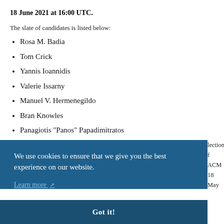18 June 2021 at 16:00 UTC.
The slate of candidates is listed below:
Rosa M. Badia
Tom Crick
Yannis Ioannidis
Valerie Issarny
Manuel V. Hermenegildo
Bran Knowles
Panagiotis "Panos" Papadimitratos
We use cookies to ensure that we give you the best experience on our website. Learn more
Got it!
lection f ACM 18 May
acmeurope@electionservicescorp.com